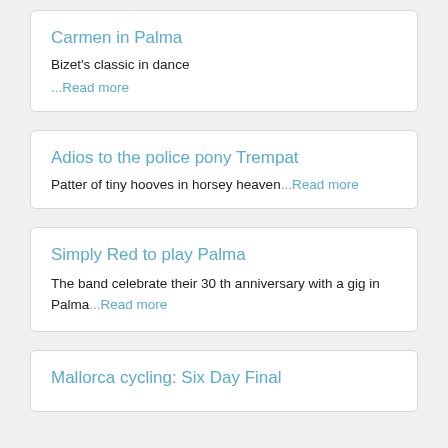Carmen in Palma
Bizet's classic in dance
...Read more
Adios to the police pony Trempat
Patter of tiny hooves in horsey heaven...Read more
Simply Red to play Palma
The band celebrate their 30 th anniversary with a gig in Palma...Read more
Mallorca cycling: Six Day Final